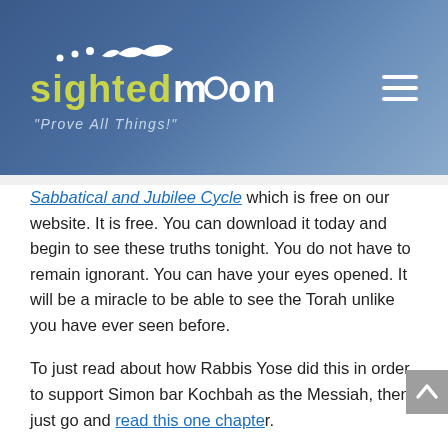[Figure (logo): Sighted Moon website header with logo showing moon phases, text 'sightedmoon' in yellow/white, tagline 'Prove All Things!' and hamburger menu icon on blue gradient background]
Sabbatical and Jubilee Cycle which is free on our website. It is free. You can download it today and begin to see these truths tonight. You do not have to remain ignorant. You can have your eyes opened. It will be a miracle to be able to see the Torah unlike you have ever seen before.
To just read about how Rabbis Yose did this in order to support Simon bar Kochbah as the Messiah, then just go and read this one chapter.
If you want proof, historical undeniable proof as to which year the Temple fell, whether or not it was 70, 69, or 68 AD then just read this one chapter of this book. The Jews in the years 68 and 69 were growing crops in the fields. Something they would never have done if 68 or 69 were Sabbatical years. They stored those crops in the Sabbatical year of 70 which is what the zealots burned and the fact that they had no crops in the field and resorted to cannibalism in 70 AD proves which year they were letting the land rest. All you have to do is look to understand this